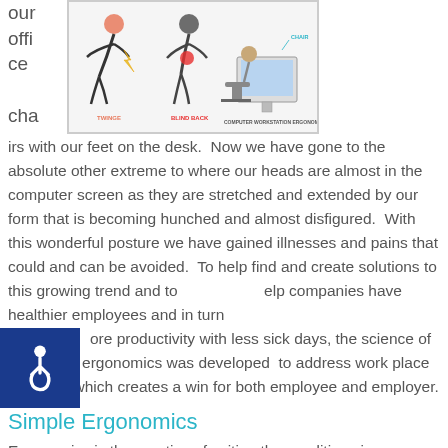[Figure (infographic): Illustration of computer workstation ergonomics showing figures with poor posture and correct ergonomic setup with chair and desk labels.]
ours office chairs with our feet on the desk.  Now we have gone to the absolute other extreme to where our heads are almost in the computer screen as they are stretched and extended by our form that is becoming hunched and almost disfigured.  With this wonderful posture we have gained illnesses and pains that could and can be avoided.  To help find and create solutions to this growing trend and to help companies have healthier employees and in turn more productivity with less sick days, the science of workplace ergonomics was developed  to address work place solutions which creates a win for both employee and employer.
Simple Ergonomics
Ergonomics is the practice of suiting the conditions in